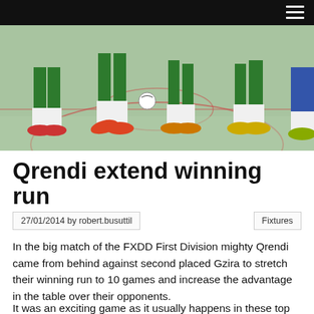[Figure (photo): Indoor futsal/football match showing players' legs and feet on a green court floor, players wearing green uniforms with white socks and red/yellow sports shoes]
Qrendi extend winning run
27/01/2014 by robert.busuttil
Fixtures
In the big match of the FXDD First Division mighty Qrendi came from behind against second placed Gzira to stretch their winning run to 10 games and increase the advantage in the table over their opponents.
It was an exciting game as it usually happens in these top of